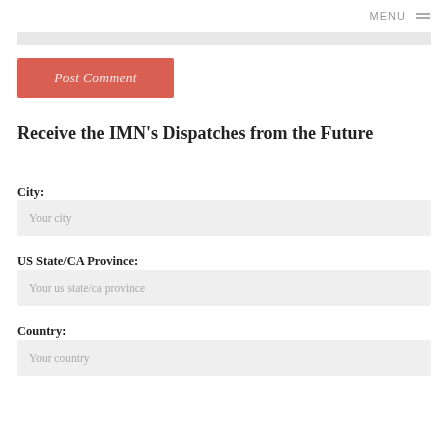MENU
Post Comment
Receive the IMN's Dispatches from the Future
City:
Your city
US State/CA Province:
Your us state/ca province
Country:
Your country